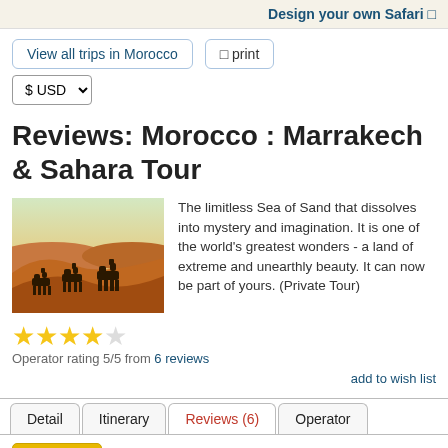Design your own Safari 🔲
View all trips in Morocco
🔲 print
$ USD
Reviews: Morocco : Marrakech & Sahara Tour
[Figure (photo): Photo of camels walking across Sahara desert sand dunes at sunset, silhouettes of three camels and riders against an orange sky]
The limitless Sea of Sand that dissolves into mystery and imagination. It is one of the world's greatest wonders - a land of extreme and unearthly beauty. It can now be part of yours. (Private Tour)
★★★★☆
Operator rating 5/5 from 6 reviews
add to wish list
Detail | Itinerary | Reviews (6) | Operator
Enquire
🔲 about our reviews
This Operator Reviews